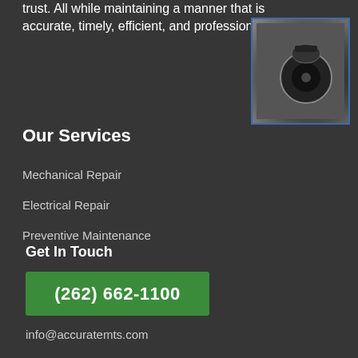trust. All while maintaining a manner that is accurate, timely, efficient, and professional.
[Figure (photo): Close-up photo of mechanical/electrical equipment component with dark background]
Our Services
Mechanical Repair
Electrical Repair
Preventive Maintenance
Get In Touch
(262) 662-1100
info@accuratemts.com